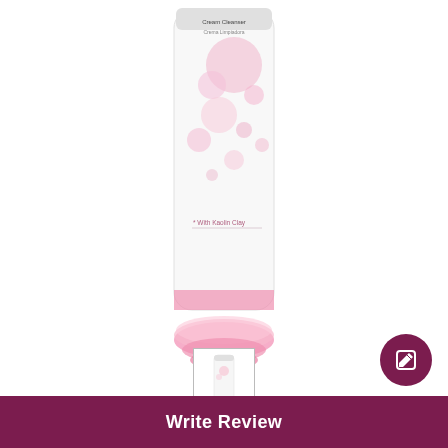[Figure (photo): Pink cream cleanser tube product with bubble design and kaolin clay text, white and pink packaging]
[Figure (photo): Small thumbnail image of the cream cleanser product]
73% would repurchase
4.3/5 package quality
$$$$$ price range
Write Review